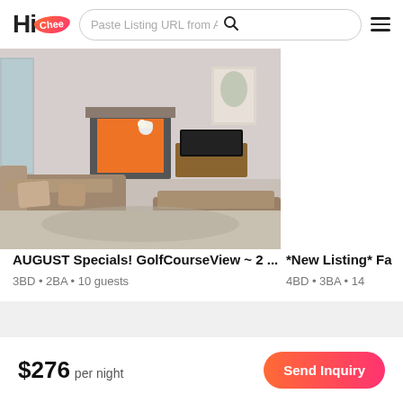[Figure (screenshot): HiChee app header with logo, search bar reading 'Paste Listing URL from Air', search icon, and hamburger menu]
[Figure (photo): Main listing photo: living room with brown sofas, fireplace, TV on wooden console, light gray walls]
AUGUST Specials! GolfCourseView ~ 2 ...
3BD • 2BA • 10 guests
[Figure (photo): Second listing photo (partial): close-up of brown leather sofa]
*New Listing* Fa
4BD • 3BA • 14
$276 per night
Send Inquiry